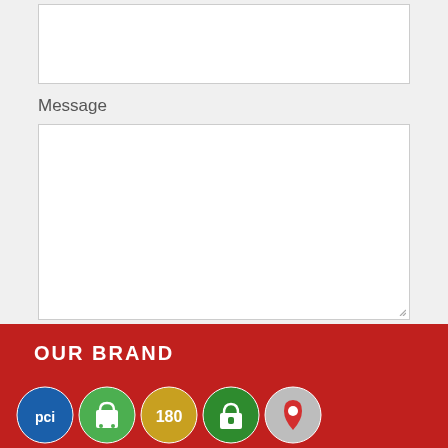(input text box)
Message
(textarea)
POST COMMENT
OUR BRAND
[Figure (logo): Row of trust/brand badge icons: PCI (blue circle), Shopify bag (green circle), 180 (yellow circle), secure lock (green circle), Google Maps pin (grey circle)]